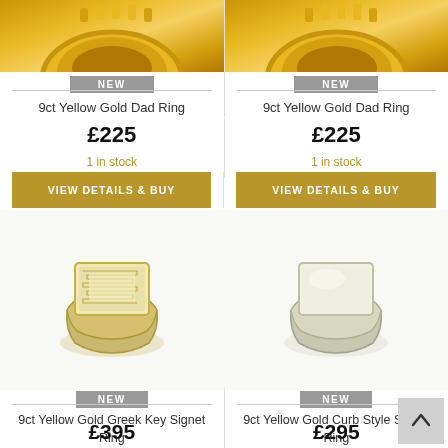[Figure (photo): 9ct Yellow Gold Dad Ring product image (left), partially cropped at top]
[Figure (photo): 9ct Yellow Gold Dad Ring product image (right), partially cropped at top]
NEW
NEW
9ct Yellow Gold Dad Ring
9ct Yellow Gold Dad Ring
£225
£225
1 in stock
1 in stock
VIEW DETAILS & BUY
VIEW DETAILS & BUY
[Figure (photo): 9ct Yellow Gold Greek Key Signet Ring product image (left)]
[Figure (photo): 9ct Yellow Gold Curb Style Signet Ring product image (right)]
NEW
NEW
9ct Yellow Gold Greek Key Signet Ring
9ct Yellow Gold Curb Style Signet Ring
£395
£295